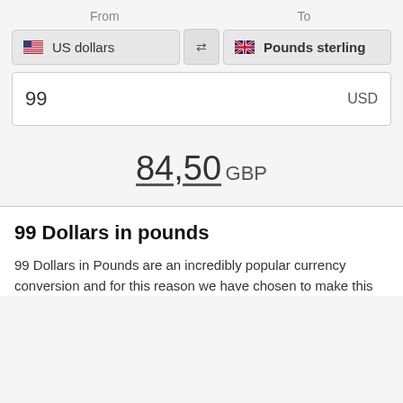[Figure (screenshot): Currency converter widget showing From: US dollars, To: Pounds sterling, input value 99 USD, result 84,50 GBP]
99 Dollars in pounds
99 Dollars in Pounds are an incredibly popular currency conversion and for this reason we have chosen to make this